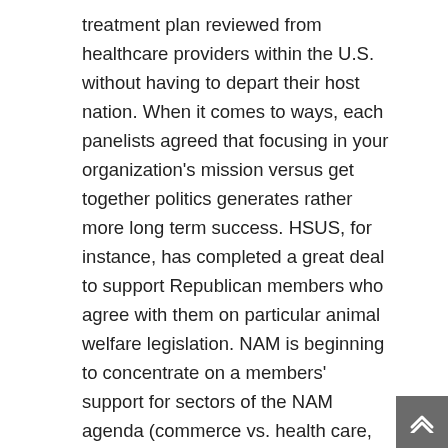treatment plan reviewed from healthcare providers within the U.S. without having to depart their host nation. When it comes to ways, each panelists agreed that focusing in your organization's mission versus get together politics generates rather more long term success. HSUS, for instance, has completed a great deal to support Republican members who agree with them on particular animal welfare legislation. NAM is beginning to concentrate on a members' support for sectors of the NAM agenda (commerce vs. health care, for instance) in an effort to acknowledge Democrats. The purpose is that just about every challenge can cross occasion boundaries. From an advocacy perspective, your focus should be on achieving your mission – not who does it.